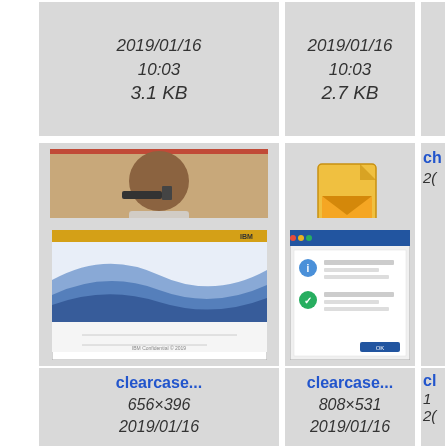[Figure (screenshot): File browser grid view showing file thumbnails with names and metadata. Top partial row shows two cells with date 2019/01/16 10:03, sizes 3.1 KB and 2.7 KB. Middle row: 'adminwit...' image file (800x525, 2019/01/16 10:03, 71.8 KB) and 'check_m...' bz2 archive file (2019/01/16 10:03, 647 B). Bottom row: 'clearcase...' screenshot (656x396, 2019/01/16) and 'clearcase...' screenshot (808x531, 2019/01/16).]